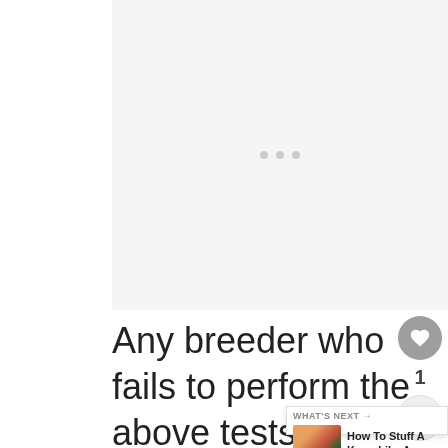[Figure (other): Advertisement placeholder area with three grey dots indicating loading]
Any breeder who fails to perform the above tests is considered unethical/irresponsible by failing to meet the minimum standards set forth by the parent club (Pembroke Welsh Corgi Club of America and Cardigan Welsh Corgi Club of
[Figure (other): Sidebar UI with heart/like button showing count 1 and share button, plus 'What's Next' widget showing 'How To Stuff A Kong Like A...' with food thumbnail]